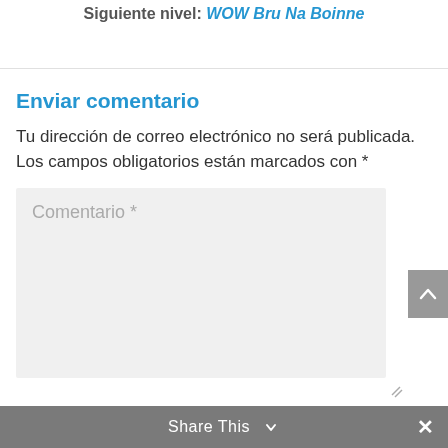Siguiente nivel: WOW Bru Na Boinne
Enviar comentario
Tu dirección de correo electrónico no será publicada. Los campos obligatorios están marcados con *
[Figure (screenshot): Comment text area input field with placeholder text 'Comentario *' on a light gray background]
Share This  ×